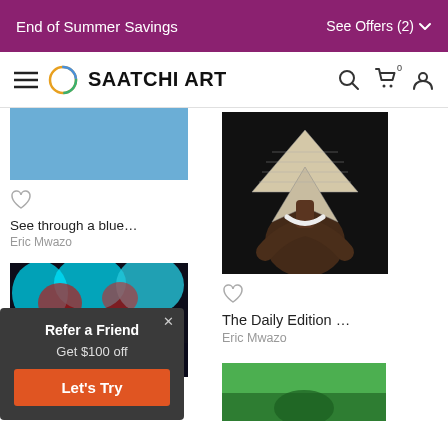End of Summer Savings   See Offers (2)
[Figure (screenshot): Saatchi Art website navigation bar with hamburger menu, logo, search, cart, and user icons]
[Figure (photo): Abstract blue rectangle artwork - 'See through a blue...' by Eric Mwazo]
See through a blue…
Eric Mwazo
[Figure (photo): Dark artistic photograph of a person with newspaper folded into a triangular shape covering face - 'The Daily Edition...' by Eric Mwazo]
The Daily Edition …
Eric Mwazo
[Figure (photo): Night cityscape with red and teal trees and city lights below]
[Figure (photo): Green background artwork partially visible at bottom right]
Refer a Friend
Get $100 off
Let's Try